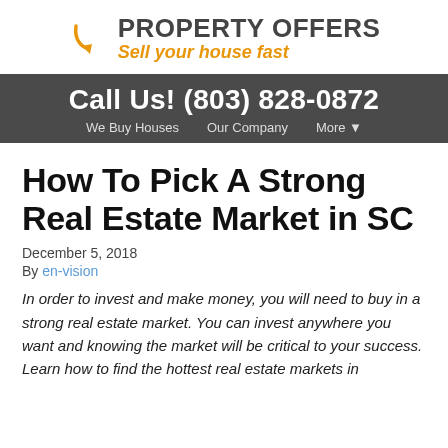PROPERTY OFFERS — Sell your house fast
Call Us! (803) 828-0872
We Buy Houses   Our Company   More ▾
How To Pick A Strong Real Estate Market in SC
December 5, 2018
By en-vision
In order to invest and make money, you will need to buy in a strong real estate market. You can invest anywhere you want and knowing the market will be critical to your success. Learn how to find the hottest real estate markets in